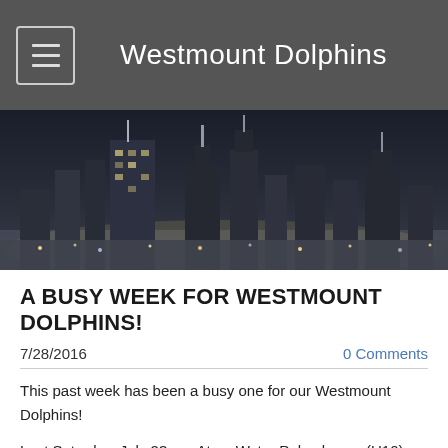Westmount Dolphins
[Figure (photo): Black and white cityscape at night showing skyscrapers and city lights]
A BUSY WEEK FOR WESTMOUNT DOLPHINS!
7/28/2016    0 Comments
This past week has been a busy one for our Westmount Dolphins!
Last Saturday, July 23 our Atom Water Polo players (U10) participated in a tournament at Beaconsfield Heights Pool.  They improved on their performance at this tournament from last season and had a lot of fun!  We look forward to our Bantam Team (U12) having more success and fun this Saturday, July 30 at Valois Pool. Check out a few photos here from the Atom Tournament as well as ones that have been